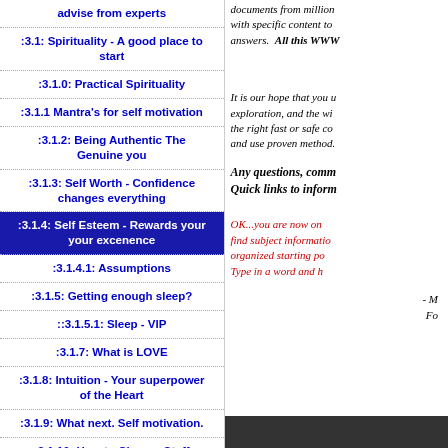advise from experts
:3.1: Spirituality - A good place to start
:3.1.0: Practical Spirituality
:3.1.1 Mantra's for self motivation
:3.1.2: Being Authentic The Genuine you
:3.1.3: Self Worth - Confidence changes everything
:3.1.4: Self Esteem - Rewards your your excenence
:3.1.4.1: Assumptions
:3.1.5: Getting enough sleep?
::3.1.5.1: Sleep - VIP
:3.1.7: What is LOVE
:3.1.8: Intuition - Your superpower of the Heart
:3.1.9: What next. Self motivation.
:3.1.10: How to Change Stuff
documents from million with specific content to answers. All this WWW
It is our hope that you u exploration, and the wi the right fast or safe co and use proven method.
Any questions, comm Quick links to inform
OK...you are now on find subject informatio organized starting po Type in a word and h
- M Fo